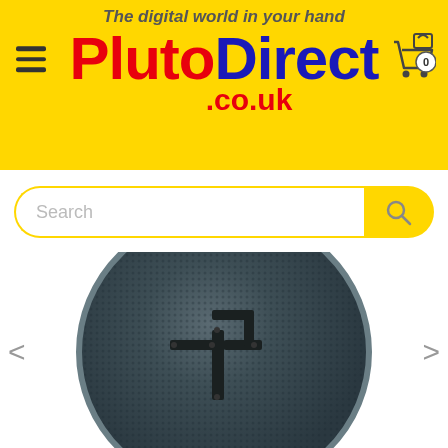The digital world in your hand
PlutoDirect.co.uk
[Figure (screenshot): PlutoDirect.co.uk website header with yellow background, hamburger menu, PlutoDirect logo in red and blue, shopping cart icon with 0 badge]
[Figure (other): Search bar with yellow rounded border, Search placeholder text, and yellow search button with magnifying glass icon]
[Figure (photo): Dark grey satellite dish with wall mount bracket, viewed from front, with navigation arrows on left and right sides]